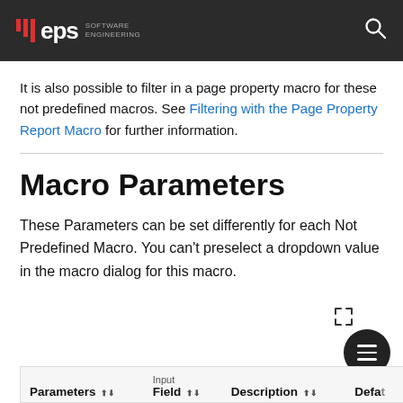eps SOFTWARE ENGINEERING
It is also possible to filter in a page property macro for these not predefined macros. See Filtering with the Page Property Report Macro for further information.
Macro Parameters
These Parameters can be set differently for each Not Predefined Macro. You can't preselect a dropdown value in the macro dialog for this macro.
| Parameters | Input Field | Description | Defat... |
| --- | --- | --- | --- |